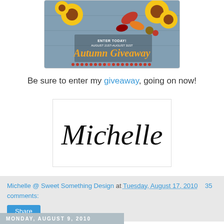[Figure (illustration): Autumn Giveaway banner image with sunflowers on a rustic blue-gray background. Text reads: ENTER TODAY! AUGUST 21ST-AUGUST 31ST, Autumn Giveaway. Red dots along the bottom edge.]
Be sure to enter my giveaway, going on now!
[Figure (illustration): Cursive signature reading 'Michelle' in black script on white background with a light border.]
Michelle @ Sweet Something Design at Tuesday, August 17, 2010   35 comments:
Share
Monday, August 9, 2010